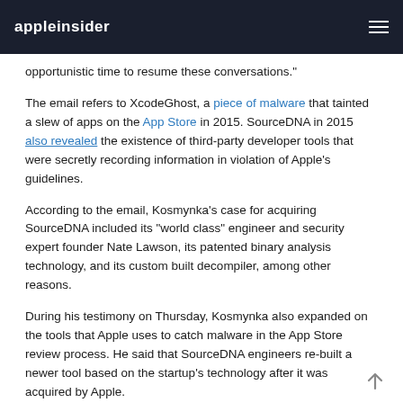appleinsider
opportunistic time to resume these conversations."
The email refers to XcodeGhost, a piece of malware that tainted a slew of apps on the App Store in 2015. SourceDNA in 2015 also revealed the existence of third-party developer tools that were secretly recording information in violation of Apple's guidelines.
According to the email, Kosmynka's case for acquiring SourceDNA included its "world class" engineer and security expert founder Nate Lawson, its patented binary analysis technology, and its custom built decompiler, among other reasons.
During his testimony on Thursday, Kosmynka also expanded on the tools that Apple uses to catch malware in the App Store review process. He said that SourceDNA engineers re-built a newer tool based on the startup's technology after it was acquired by Apple.